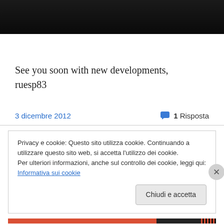[Figure (photo): Dark image at top of page, partially cropped]
See you soon with new developments,
ruesp83
3 dicembre 2012
1 Risposta
Privacy e cookie: Questo sito utilizza cookie. Continuando a utilizzare questo sito web, si accetta l'utilizzo dei cookie.
Per ulteriori informazioni, anche sul controllo dei cookie, leggi qui:
Informativa sui cookie
Chiudi e accetta